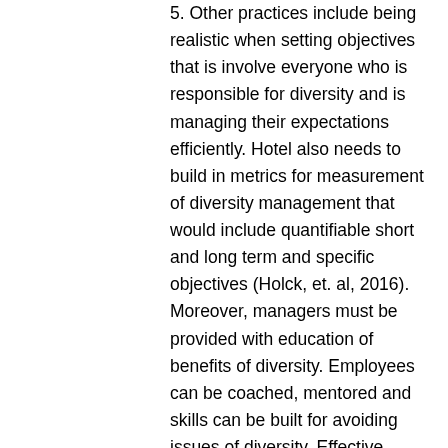5. Other practices include being realistic when setting objectives that is involve everyone who is responsible for diversity and is managing their expectations efficiently. Hotel also needs to build in metrics for measurement of diversity management that would include quantifiable short and long term and specific objectives (Holck, et. al, 2016). Moreover, managers must be provided with education of benefits of diversity. Employees can be coached, mentored and skills can be built for avoiding issues of diversity. Effective management of diversity will provide hotel chain with opportunities of success and diversity management principles will help in achieving business goals of hotel.